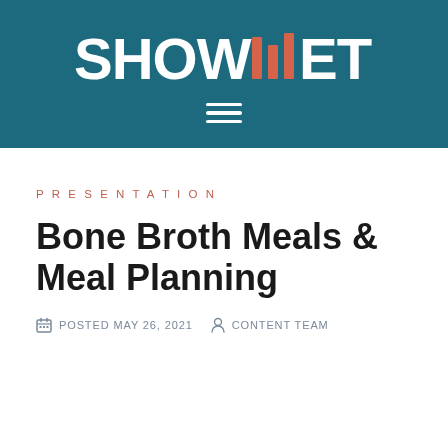[Figure (logo): Showmetry logo in white on teal background with orange bar chart marks between SHOW and ETRY]
PRESENTATION
Bone Broth Meals & Meal Planning
POSTED MAY 26, 2021   CONTENT TEAM